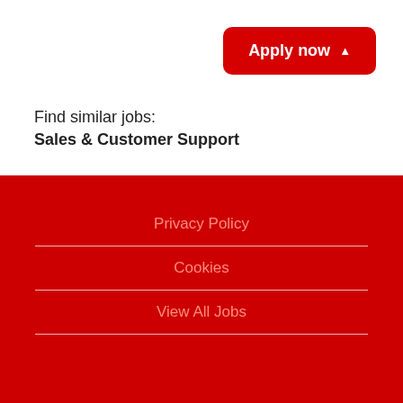[Figure (other): Red Apply now button with upward triangle arrow in top-right corner]
Find similar jobs:
Sales & Customer Support
Privacy Policy
Cookies
View All Jobs